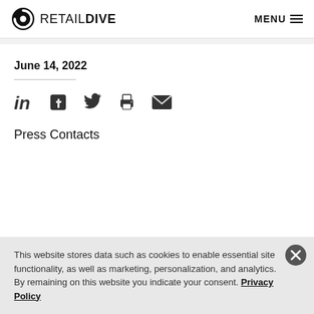RETAIL DIVE  MENU
June 14, 2022
[Figure (other): Social share icons: LinkedIn, Facebook, Twitter, Print, Email]
Press Contacts
This website stores data such as cookies to enable essential site functionality, as well as marketing, personalization, and analytics. By remaining on this website you indicate your consent. Privacy Policy